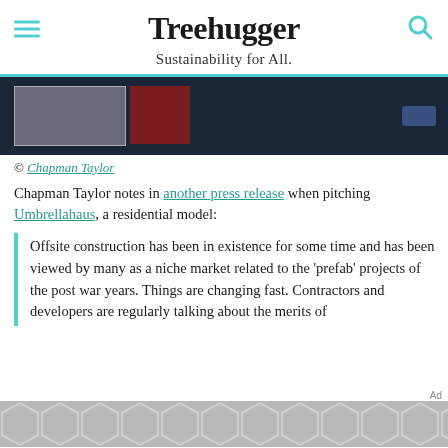Treehugger — Sustainability for All.
[Figure (photo): Dark background hero image showing interior room photographs]
© Chapman Taylor
Chapman Taylor notes in another press release when pitching Umbrellahaus, a residential model:
Offsite construction has been in existence for some time and has been viewed by many as a niche market related to the 'prefab' projects of the post war years. Things are changing fast. Contractors and developers are regularly talking about the merits of
[Figure (other): Ad graphic with hexagon pattern in gray]